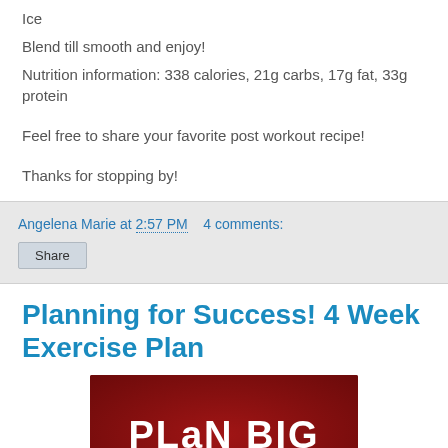Ice
Blend till smooth and enjoy!
Nutrition information: 338 calories, 21g carbs, 17g fat, 33g protein
Feel free to share your favorite post workout recipe!
Thanks for stopping by!
Angelena Marie at 2:57 PM    4 comments:
Share
Planning for Success! 4 Week Exercise Plan
[Figure (photo): Red background image with white bold text reading 'PLaN BIG']